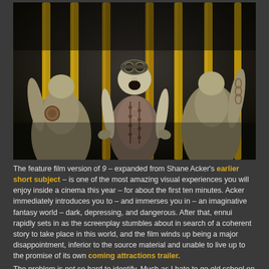[Figure (illustration): Animated/CGI characters from the film '9' — stitchpunk ragdoll figures standing behind golden bars, with the central character wearing a leather vest with lace-up front, looking alarmed. Two other characters flank the central one.]
The feature film version of 9 – expanded from Shane Acker's earlier short subject – is one of the most amazing visual experiences you will enjoy inside a cinema this year – for about the first ten minutes. Acker immediately introduces you to – and immerses you in – an imaginative fantasy world – dark, depressing, and dangerous. After that, ennui rapidly sets in as the screenplay stumbles about in search of a coherent story to take place in this world, and the film winds up being a major disappointment, inferior to the source material and unable to live up to the promise of its own coming attractions trailer.
The problem is not so hard to identify. Much as I hate to go old school on a film that strives mightily to offer an innovative vision, the simple fact is the 9 fails in all the areas they teach you about in Writing 101: plot, characterization, structure. Most importantly, the script never